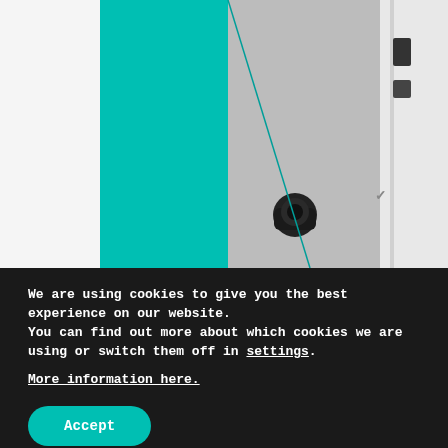[Figure (photo): Close-up product photo of a device (tablet or laptop) with teal/turquoise and silver/grey surfaces and white frame, showing side/back edges with a lock mechanism and buttons]
We are using cookies to give you the best experience on our website.
You can find out more about which cookies we are using or switch them off in settings.
More information here.
Accept